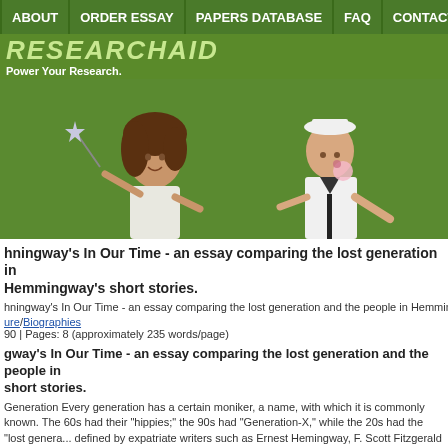ABOUT | ORDER ESSAY | PAPERS DATABASE | FAQ | CONTACTS
RESEARCHAID
Power Your Research.
[Figure (photo): Two people on a green background: a woman with curly hair holding a magic wand with a star, and a man in a white sailor hat blowing a bubble gum bubble.]
hningway's In Our Time - an essay comparing the lost generation in Hemmingway's short stories.
hningway's In Our Time - an essay comparing the lost generation and the people in Hemmingw...
ure/Biographies
90 | Pages: 8 (approximately 235 words/page)
gway's In Our Time - an essay comparing the lost generation and the people in short stories.
Generation Every generation has a certain moniker, a name, with which it is commonly known. The 60s had their "hippies;" the 90s had "Generation-X," while the 20s had the "lost generation" as defined by expatriate writers such as Ernest Hemingway, F. Scott Fitzgerald and Gertr...